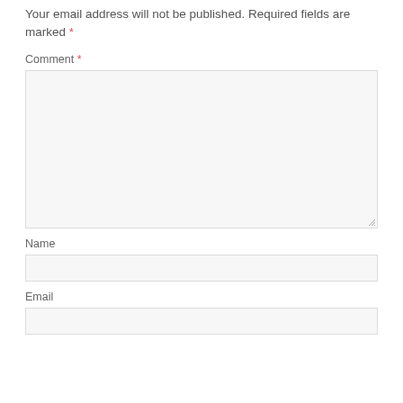Your email address will not be published. Required fields are marked *
Comment *
[Figure (other): Large empty comment textarea input field with resize handle]
Name
[Figure (other): Single-line name input field]
Email
[Figure (other): Single-line email input field]